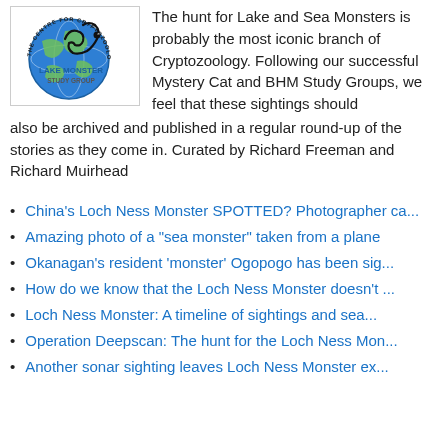[Figure (logo): Lake Monster Study Group logo — circular badge with globe, Nessie-like creature, text 'THE CENTRE FOR CRYPTOZOOLOGY' around the edge, 'LAKE MONSTER STUDY GROUP' in center.]
The hunt for Lake and Sea Monsters is probably the most iconic branch of Cryptozoology. Following our successful Mystery Cat and BHM Study Groups, we feel that these sightings should also be archived and published in a regular round-up of the stories as they come in. Curated by Richard Freeman and Richard Muirhead
China's Loch Ness Monster SPOTTED? Photographer ca...
Amazing photo of a "sea monster" taken from a plane
Okanagan's resident 'monster' Ogopogo has been sig...
How do we know that the Loch Ness Monster doesn't ...
Loch Ness Monster: A timeline of sightings and sea...
Operation Deepscan: The hunt for the Loch Ness Mon...
Another sonar sighting leaves Loch Ness Monster ex...